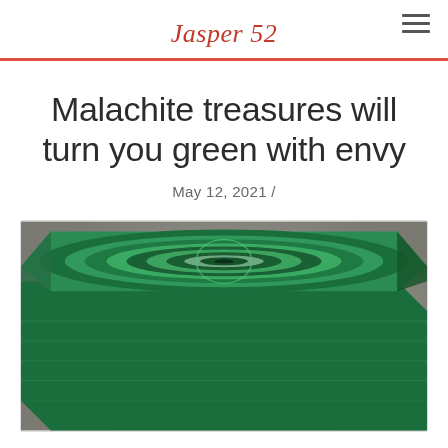Jasper 52
Malachite treasures will turn you green with envy
May 12, 2021 /
[Figure (photo): A decorative malachite box with intricate swirling green and white banded patterns on the lid, photographed against a blurred grey background.]